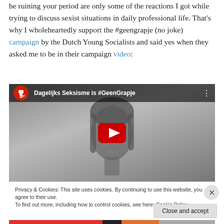be ruining your period are only some of the reactions I got while trying to discuss sexist situations in daily professional life. That's why I wholeheartedly support the #geengrapje (no joke) campaign by the Dutch Young Socialists and said yes when they asked me to be in their campaign video:
[Figure (screenshot): Embedded YouTube video thumbnail showing 'Dagelijks Seksisme is #GeenGrapje' with a black and white image of a woman's face and a red YouTube play button in the center]
Privacy & Cookies: This site uses cookies. By continuing to use this website, you agree to their use. To find out more, including how to control cookies, see here: Cookie Policy
Close and accept